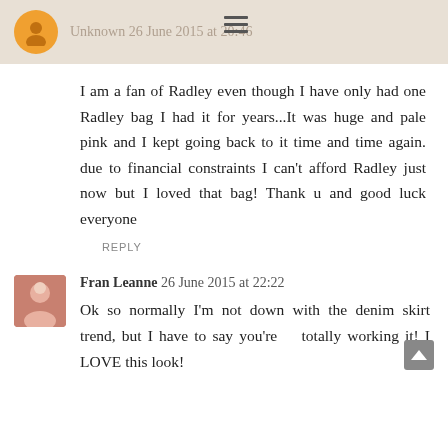Unknown 26 June 2015 at 20:46
I am a fan of Radley even though I have only had one Radley bag I had it for years...It was huge and pale pink and I kept going back to it time and time again. due to financial constraints I can't afford Radley just now but I loved that bag! Thank u and good luck everyone
REPLY
Fran Leanne 26 June 2015 at 22:22
Ok so normally I'm not down with the denim skirt trend, but I have to say you're totally working it! I LOVE this look!